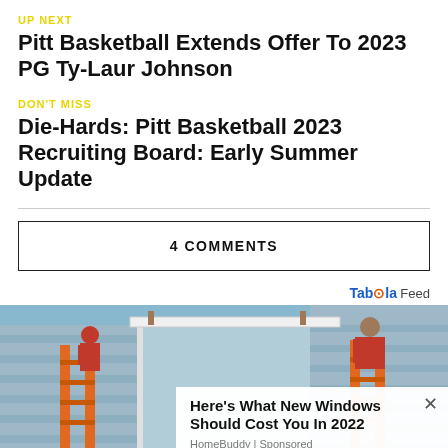UP NEXT
Pitt Basketball Extends Offer To 2023 PG Ty-Laur Johnson
DON'T MISS
Die-Hards: Pitt Basketball 2023 Recruiting Board: Early Summer Update
4 COMMENTS
Taboola Feed
[Figure (photo): Workers installing windows on the exterior of a house, using ladders]
Here's What New Windows Should Cost You In 2022
HomeBuddy | Sponsored